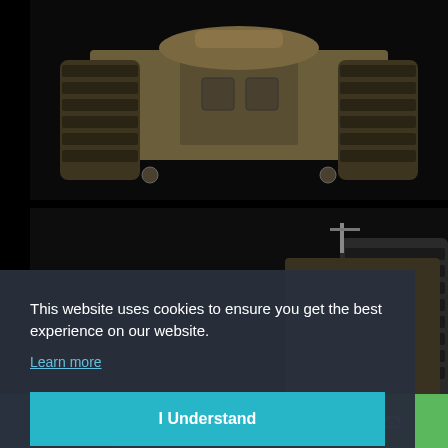[Figure (photo): Front view of a scale model WWII tank (likely a Panzer/KV model) on a black background, showing detailed tracks and hull]
[Figure (photo): Partial side view of another scale model tank on a black background, partially obscured by cookie consent overlay]
This website uses cookies to ensure you get the best experience on our website.
Learn more
I Understand